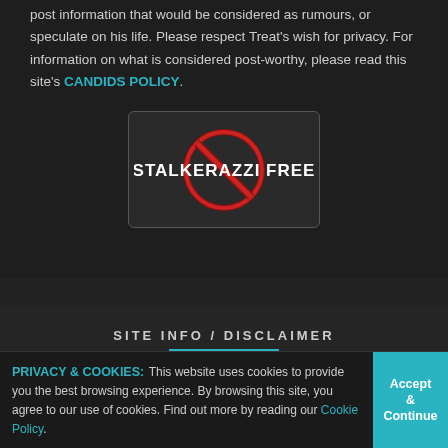post information that would be considered as rumours, or speculate on his life. Please respect Treat's wish for privacy. For information on what is considered post-worthy, please read this site's CANDIDS POLICY.
[Figure (logo): Stalkerazzi Free badge: dark rounded rectangle with a red prohibition circle-slash symbol and white bold text reading STALKERAZZI FREE]
SITE INFO / DISCLAIMER
WEBMASTER: Dianne
PRIVACY & COOKIES: This website uses cookies to provide you the best browsing experience. By browsing this site, you agree to our use of cookies. Find out more by reading our Cookie Policy.